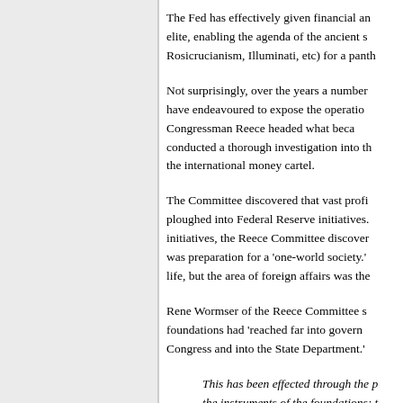The Fed has effectively given financial an elite, enabling the agenda of the ancient s Rosicrucianism, Illuminati, etc) for a panth
Not surprisingly, over the years a number have endeavoured to expose the operatio Congressman Reece headed what beca conducted a thorough investigation into th the international money cartel.
The Committee discovered that vast profi ploughed into Federal Reserve initiatives. initiatives, the Reece Committee discover was preparation for a 'one-world society.' life, but the area of foreign affairs was the
Rene Wormser of the Reece Committee s foundations had 'reached far into govern Congress and into the State Department.'
This has been effected through the p the instruments of the foundations; t favourites as teachers and experts i the learned journals in internationa